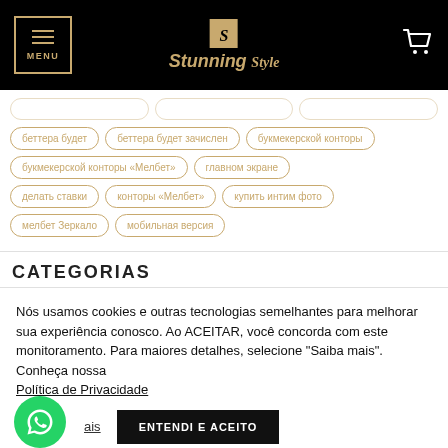[Figure (screenshot): Website header with black background, MENU button with gold border, Stunning Style logo in gold, and cart icon]
беттера будет
беттера будет зачислен
букмекерской конторы
букмекерской конторы «Мелбет»
главном экране
делать ставки
конторы «Мелбет»
купить интим фото
мелбет Зеркало
мобильная версия
CATEGORIAS
Нós usamos cookies e outras tecnologias semelhantes para melhorar sua experiência conosco. Ao ACEITAR, você concorda com este monitoramento. Para maiores detalhes, selecione "Saiba mais". Conheça nossa Política de Privacidade
Saiba mais   ENTENDI E ACEITO